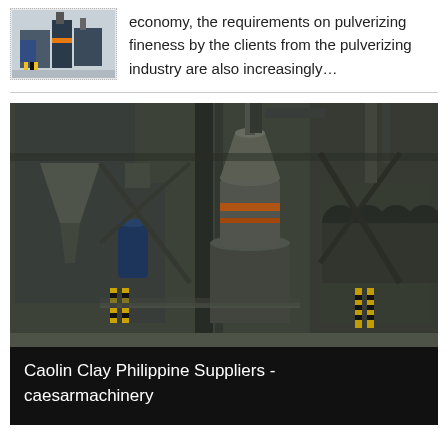[Figure (photo): Small thumbnail photo of industrial pulverizing machine equipment, shown in blue/gray tones with dotted border]
economy, the requirements on pulverizing fineness by the clients from the pulverizing industry are also increasingly…
[Figure (photo): Large industrial photo of heavy pulverizing or milling machinery in a factory setting, dark gray steel structures with orange accents, multiple cylindrical components and mechanical systems]
Caolin Clay Philippine Suppliers - caesarmachinery